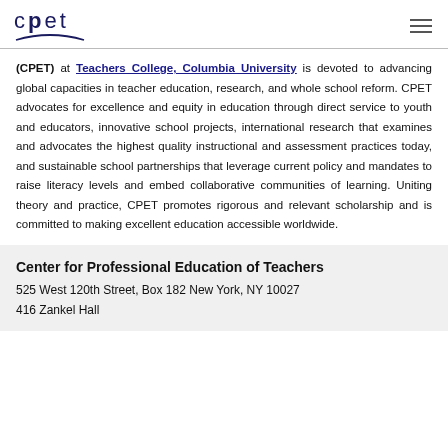[Figure (logo): CPET logo with stylized text and arc underline]
(CPET) at Teachers College, Columbia University is devoted to advancing global capacities in teacher education, research, and whole school reform. CPET advocates for excellence and equity in education through direct service to youth and educators, innovative school projects, international research that examines and advocates the highest quality instructional and assessment practices today, and sustainable school partnerships that leverage current policy and mandates to raise literacy levels and embed collaborative communities of learning. Uniting theory and practice, CPET promotes rigorous and relevant scholarship and is committed to making excellent education accessible worldwide.
Center for Professional Education of Teachers
525 West 120th Street, Box 182 New York, NY 10027
416 Zankel Hall